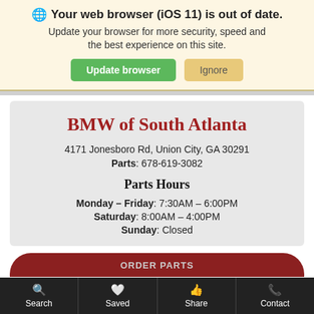🌐 Your web browser (iOS 11) is out of date. Update your browser for more security, speed and the best experience on this site.
Update browser | Ignore
BMW of South Atlanta
4171 Jonesboro Rd, Union City, GA 30291
Parts: 678-619-3082
Parts Hours
Monday – Friday: 7:30AM – 6:00PM
Saturday: 8:00AM – 4:00PM
Sunday: Closed
ORDER PARTS
Search | Saved | Share | Contact